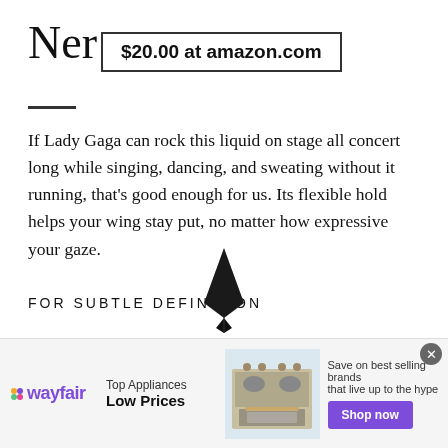Ner
$20.00 at amazon.com
If Lady Gaga can rock this liquid on stage all concert long while singing, dancing, and sweating without it running, that's good enough for us. Its flexible hold helps your wing stay put, no matter how expressive your gaze.
FOR SUBTLE DEFINITION
[Figure (photo): Partial view of a makeup/eyeliner product (black applicator tip visible) at the bottom of the content area]
[Figure (infographic): Wayfair advertisement banner: Top Appliances Low Prices, Save on best selling brands that live up to the hype, Shop now button, with image of a stove/range appliance]